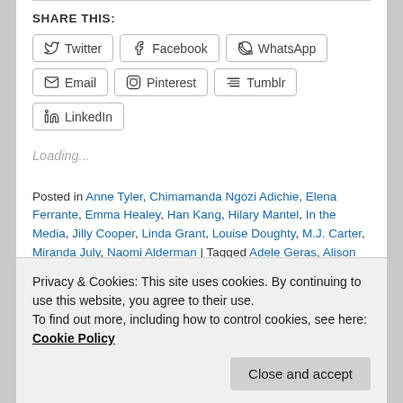SHARE THIS:
Twitter
Facebook
WhatsApp
Email
Pinterest
Tumblr
LinkedIn
Loading...
Posted in Anne Tyler, Chimamanda Ngozi Adichie, Elena Ferrante, Emma Healey, Han Kang, Hilary Mantel, In the Media, Jilly Cooper, Linda Grant, Louise Doughty, M.J. Carter, Miranda July, Naomi Alderman | Tagged Adele Geras, Alison Flood, Alison Gray, Alison Herman, Alison Stine, Alison Taylor, Amanda Filipacchi, Amanda Miska, Amber Sparks, Amy Jenkins, Angela Neville, Ann Beattie,
E.J. Swift, Elizabeth Amexander, Elizabeth McCracken, Em
Privacy & Cookies: This site uses cookies. By continuing to use this website, you agree to their use. To find out more, including how to control cookies, see here: Cookie Policy